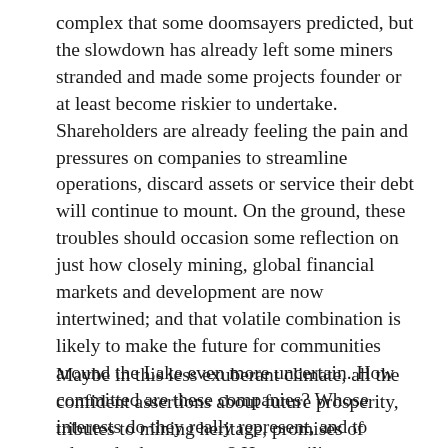complex that some doomsayers predicted, but the slowdown has already left some miners stranded and made some projects founder or at least become riskier to undertake. Shareholders are already feeling the pain and pressures on companies to streamline operations, discard assets or service their debt will continue to mount. On the ground, these troubles should occasion some reflection on just how closely mining, global financial markets and development are now intertwined; and that volatile combination is likely to make the future for communities around the Lake even more uncertain. How committed are these companies? Whose interests do they really represent, and to whom do they answer? How resilient are they? What happens when things fall apart?
Maybe in this less exuberant climate, all the confident assertions about future prosperity, tributes to mining heritage, promises of responsible stewardship, and bids for social license to undertake mining projects will receive closer